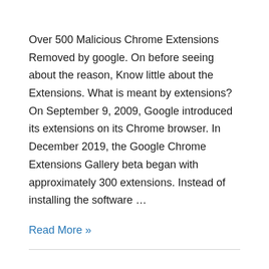Over 500 Malicious Chrome Extensions Removed by google. On before seeing about the reason, Know little about the Extensions. What is meant by extensions? On September 9, 2009, Google introduced its extensions on its Chrome browser. In December 2019, the Google Chrome Extensions Gallery beta began with approximately 300 extensions. Instead of installing the software …
Read More »